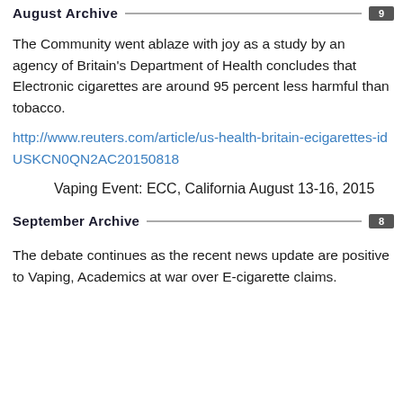August Archive  9
The Community went ablaze with joy as a study by an agency of Britain's Department of Health concludes that Electronic cigarettes are around 95 percent less harmful than tobacco.
http://www.reuters.com/article/us-health-britain-ecigarettes-idUSKCN0QN2AC20150818
Vaping Event: ECC, California August 13-16, 2015
September Archive  8
The debate continues as the recent news update are positive to Vaping, Academics at war over E-cigarette claims.